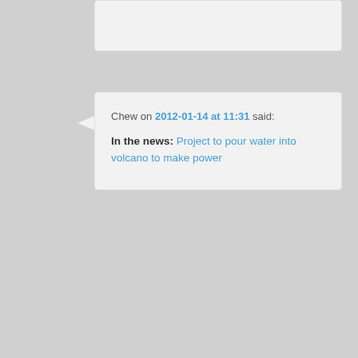Chew on 2012-01-14 at 11:31 said:
In the news: Project to pour water into volcano to make power
Fernando Ayala on 2012-01-15 at 02:02 said:
This might be a stretch right now, but making the most out of the type of energy begin used; it should be evaluated as well. Not all technologies and forms of energy are used in the most efficient way. Hydroelectric plants using potential energy to produce electricity is one thing, nuclear or fossil energy to produce electricity has always been a stretch. My point being, using geothermal energy for heating